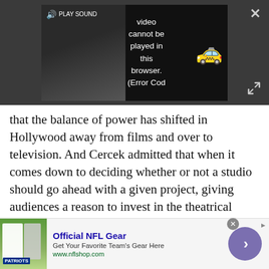[Figure (screenshot): Embedded video player showing error message 'Video cannot be played in this browser. (Error Cod' with a speaker/play sound icon, a yellow truck emoji icon, a close X button, and an expand icon. Background shows a person in dark clothing.]
that the balance of power has shifted in Hollywood away from films and over to television. And Cercek admitted that when it comes down to deciding whether or not a studio should go ahead with a given project, giving audiences a reason to invest in the theatrical experience is "100% the conversation." The studio executives said that it could be something as simple as the director hired, or the actor cast. It might be the title of the IP, or the story in play. But they know that every movie, big or small, needs to register
[Figure (screenshot): Advertisement banner for Official NFL Gear. Shows NFL jersey image on left, text 'Official NFL Gear', 'Get Your Favorite Team's Gear Here', 'www.nflshop.com', a purple circular arrow button on right, and a close/x button.]